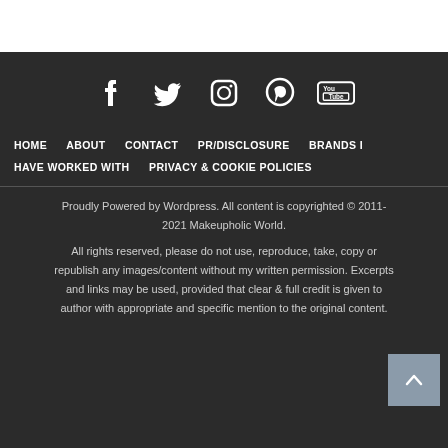[Figure (illustration): White top bar at top of page]
[Figure (illustration): Social media icons: Facebook, Twitter, Instagram, Pinterest, YouTube on dark background]
HOME   ABOUT   CONTACT   PR/DISCLOSURE   BRANDS I HAVE WORKED WITH   PRIVACY & COOKIE POLICIES
Proudly Powered by Wordpress. All content is copyrighted © 2011-2021 Makeupholic World.
All rights reserved, please do not use, reproduce, take, copy or republish any images/content without my written permission. Excerpts and links may be used, provided that clear & full credit is given to author with appropriate and specific mention to the original content.